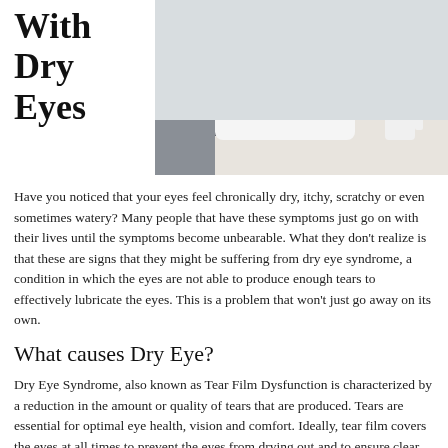With Dry Eyes
[Figure (photo): A man in a white shirt holding glasses, sitting at a desk with a keyboard and coffee cup in the background.]
Have you noticed that your eyes feel chronically dry, itchy, scratchy or even sometimes watery? Many people that have these symptoms just go on with their lives until the symptoms become unbearable. What they don't realize is that these are signs that they might be suffering from dry eye syndrome, a condition in which the eyes are not able to produce enough tears to effectively lubricate the eyes. This is a problem that won't just go away on its own.
What causes Dry Eye?
Dry Eye Syndrome, also known as Tear Film Dysfunction is characterized by a reduction in the amount or quality of tears that are produced. Tears are essential for optimal eye health, vision and comfort. Ideally, tear film covers the eyes at all times to prevent the eyes from drying out and to ensure clear vision. If the glands that produce tears start to produce fewer tears or tears that don't have the proper balance of water, oils, proteins and electrolytes, the tear film with become unstable,